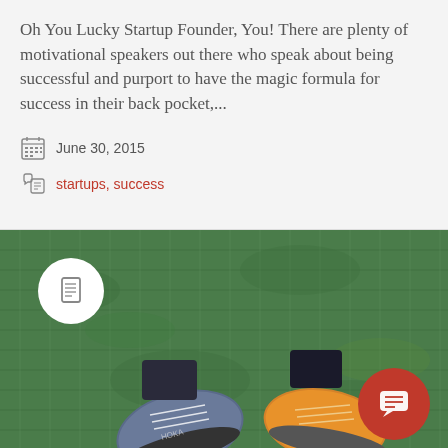Oh You Lucky Startup Founder, You! There are plenty of motivational speakers out there who speak about being successful and purport to have the magic formula for success in their back pocket,...
June 30, 2015
startups, success
[Figure (photo): Photo of two sneakers (one blue/grey, one orange/yellow) on green grass, with a white circular icon in the top-left and a red circular chat icon in the bottom-right]